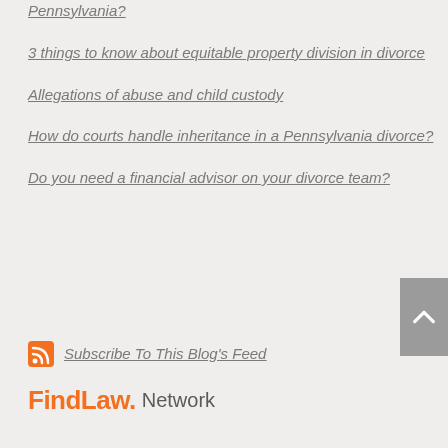Pennsylvania?
3 things to know about equitable property division in divorce
Allegations of abuse and child custody
How do courts handle inheritance in a Pennsylvania divorce?
Do you need a financial advisor on your divorce team?
Subscribe To This Blog's Feed
FindLaw. Network